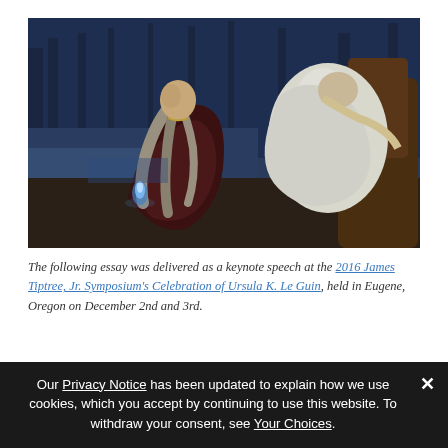[Figure (illustration): A fantasy oil painting showing two figures: a woman with long gray-brown hair in a dark reddish-brown dress kneeling or sitting, holding a small blue flame, and a second figure draped in white cloth reclining against a tree in a misty, dark blue forest background.]
The following essay was delivered as a keynote speech at the 2016 James Tiptree, Jr. Symposium's Celebration of Ursula K. Le Guin, held in Eugene, Oregon on December 2nd and 3rd.
It will probably take my whole talk just to explain my
Our Privacy Notice has been updated to explain how we use cookies, which you accept by continuing to use this website. To withdraw your consent, see Your Choices.